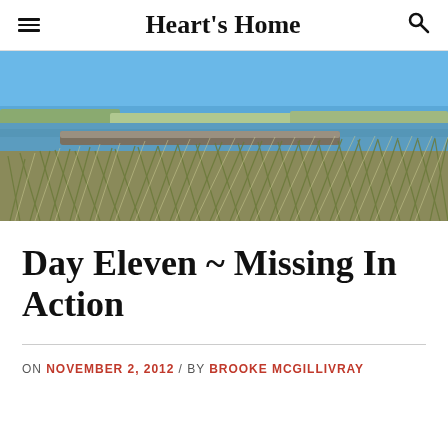Heart's Home
[Figure (photo): Coastal landscape with tall grassy dunes in the foreground, a calm bay or inlet with rocky breakwater in the middle ground, and a clear blue sky in the background.]
Day Eleven ~ Missing In Action
ON NOVEMBER 2, 2012 / BY BROOKE MCGILLIVRAY